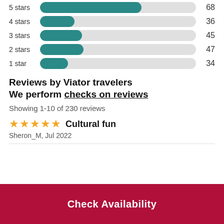[Figure (bar-chart): Star rating distribution]
Reviews by Viator travelers
We perform checks on reviews
Showing 1-10 of 230 reviews
★★★★★ Cultural fun
Sheron_M, Jul 2022
Check Availability